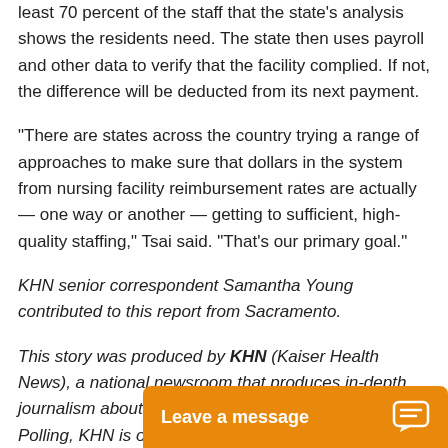least 70 percent of the staff that the state's analysis shows the residents need. The state then uses payroll and other data to verify that the facility complied. If not, the difference will be deducted from its next payment.
“There are states across the country trying a range of approaches to make sure that dollars in the system from nursing facility reimbursement rates are actually — one way or another — getting to sufficient, high-quality staffing,” Tsai said. “That’s our primary goal.”
KHN senior correspondent Samantha Young contributed to this report from Sacramento.
This story was produced by KHN (Kaiser Health News), a national newsroom that produces in-depth journalism about health issues. To Polling, KHN is one of t